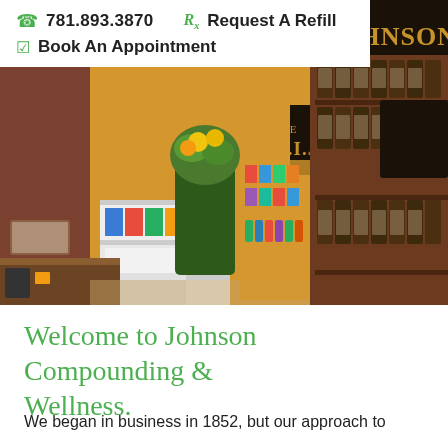781.893.3870   Request A Refill   Book An Appointment
[Figure (photo): Interior of H.I. Johnson Drug pharmacy showing shelves stocked with supplements and products, with a large store sign reading THE H.I. JOHNSON DRUG]
Welcome to Johnson Compounding & Wellness.
We began in business in 1852, but our approach to